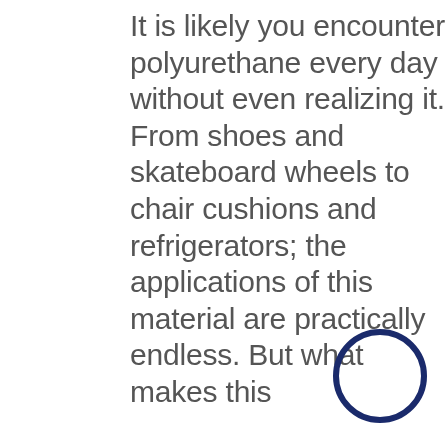It is likely you encounter polyurethane every day without even realizing it. From shoes and skateboard wheels to chair cushions and refrigerators; the applications of this material are practically endless. But what makes this
[Figure (illustration): A dark navy blue circle (ring/outline) in the bottom-right corner of the page]